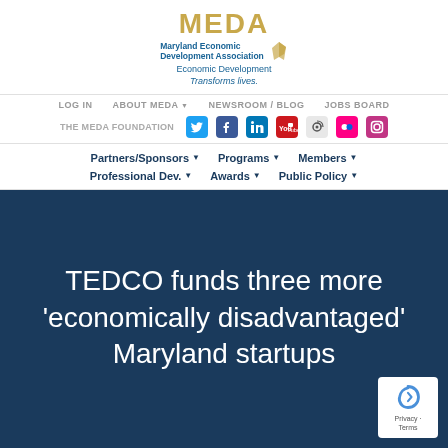[Figure (logo): MEDA - Maryland Economic Development Association logo with tagline 'Economic Development Transforms Lives.']
LOG IN   ABOUT MEDA ▾   NEWSROOM / BLOG   JOBS BOARD
THE MEDA FOUNDATION  [social icons: Twitter, Facebook, LinkedIn, YouTube, RSS, Flickr, Instagram]
Partners/Sponsors ▾   Programs ▾   Members ▾   Professional Dev. ▾   Awards ▾   Public Policy ▾
TEDCO funds three more 'economically disadvantaged' Maryland startups